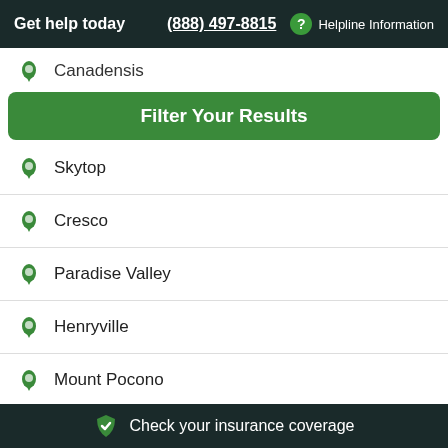Get help today  (888) 497-8815  ? Helpline Information
Canadensis
Filter Your Results
Skytop
Cresco
Paradise Valley
Henryville
Mount Pocono
South Sterling
Check your insurance coverage